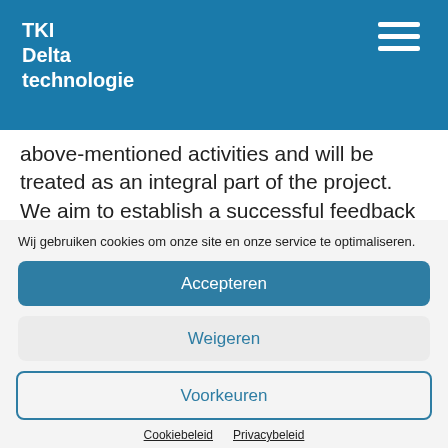TKI Delta technologie
above-mentioned activities and will be treated as an integral part of the project. We aim to establish a successful feedback cycle between the stakeholders and the project
Wij gebruiken cookies om onze site en onze service te optimaliseren.
Accepteren
Weigeren
Voorkeuren
Cookiebeleid  Privacybeleid